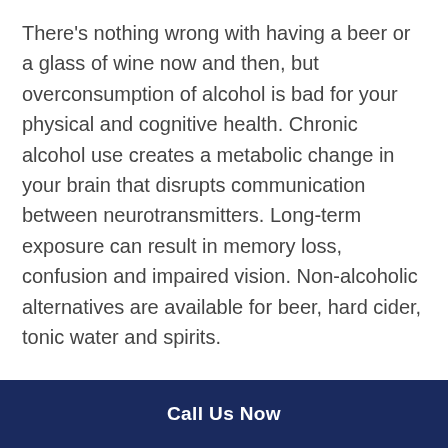There's nothing wrong with having a beer or a glass of wine now and then, but overconsumption of alcohol is bad for your physical and cognitive health. Chronic alcohol use creates a metabolic change in your brain that disrupts communication between neurotransmitters. Long-term exposure can result in memory loss, confusion and impaired vision. Non-alcoholic alternatives are available for beer, hard cider, tonic water and spirits.
MENTAL-MINDED MEALS AT KEMPER HOUSE WORTHINGTON
Call Us Now